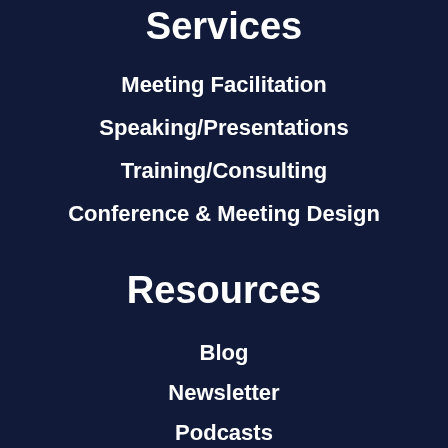Services
Meeting Facilitation
Speaking/Presentations
Training/Consulting
Conference & Meeting Design
Resources
Blog
Newsletter
Podcasts